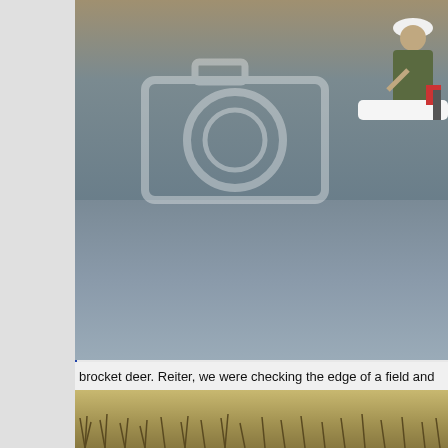[Figure (photo): A person in military/camouflage clothing and white cap riding a motorboat on a muddy brown river. A watermark camera icon is overlaid on the image. The river water is brown and turbulent in the upper portion, and calmer and grey-blue in the lower portion.]
brocket deer. Reiter, we were checking the edge of a field and
[Figure (photo): Dry grassland or savanna with brown and golden dry grass tufts. Bottom portion of a landscape photo.]